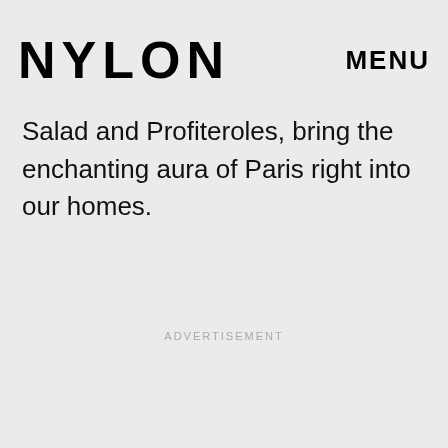NYLON  MENU
our kitchens. However, for those unable to spring for the book's 125 recipes like Spiralized Zucchini Salad and Profiteroles, bring the enchanting aura of Paris right into our homes.
ADVERTISEMENT